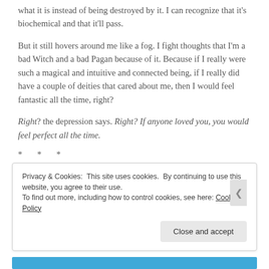what it is instead of being destroyed by it. I can recognize that it's biochemical and that it'll pass.
But it still hovers around me like a fog. I fight thoughts that I'm a bad Witch and a bad Pagan because of it. Because if I really were such a magical and intuitive and connected being, if I really did have a couple of deities that cared about me, then I would feel fantastic all the time, right?
Right? the depression says. Right? If anyone loved you, you would feel perfect all the time.
* * *
Privacy & Cookies: This site uses cookies. By continuing to use this website, you agree to their use. To find out more, including how to control cookies, see here: Cookie Policy